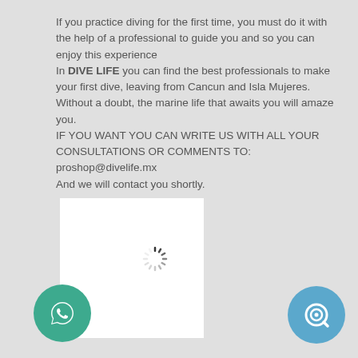If you practice diving for the first time, you must do it with the help of a professional to guide you and so you can enjoy this experience
In DIVE LIFE you can find the best professionals to make your first dive, leaving from Cancun and Isla Mujeres. Without a doubt, the marine life that awaits you will amaze you.
IF YOU WANT YOU CAN WRITE US WITH ALL YOUR CONSULTATIONS OR COMMENTS TO:
proshop@divelife.mx
And we will contact you shortly.
[Figure (other): White box with a loading spinner (circular dashed spinner icon) in the center, indicating an image is loading]
[Figure (other): Green circular WhatsApp button with a phone/chat icon]
[Figure (other): Blue circular chat/search button with a circular target/zoom icon]